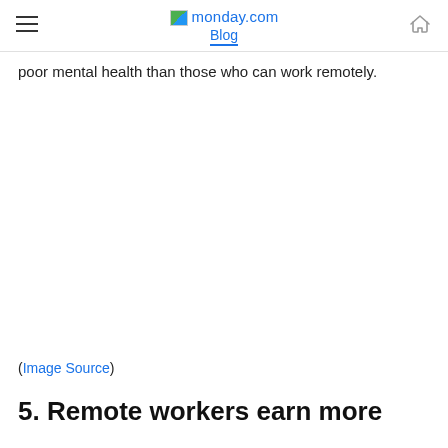monday.com Blog
poor mental health than those who can work remotely.
(Image Source)
5. Remote workers earn more